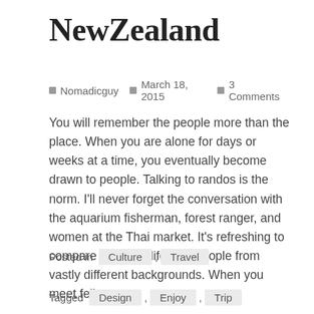NewZealand
Nomadicguy  March 18, 2015  3 Comments
You will remember the people more than the place. When you are alone for days or weeks at a time, you eventually become drawn to people. Talking to randos is the norm. I'll never forget the conversation with the aquarium fisherman, forest ranger, and women at the Thai market. It's refreshing to compare notes on life with people from vastly different backgrounds. When you meet fellow...
Posted in  Culture ,  Travel
Tagged  Design ,  Enjoy ,  Trip